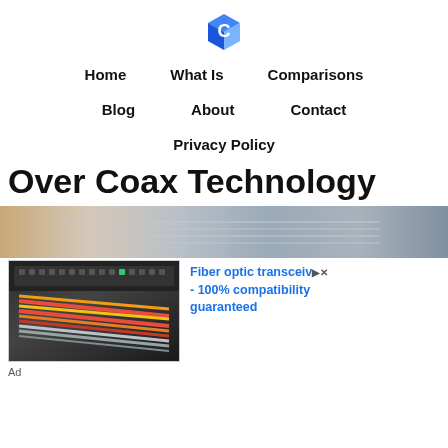[logo: blue cube icon]
Home
What Is
Comparisons
Blog
About
Contact
Privacy Policy
Over Coax Technology
[Figure (photo): Hero banner image of server/networking equipment, blurred background]
[Figure (photo): Advertisement image showing fiber optic cables and networking hardware with red, yellow and grey cables]
Fiber optic transceiv... - 100% compatibility guaranteed
Ad